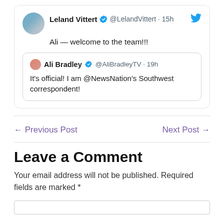[Figure (screenshot): Tweet from Leland Vittert (@LelandVittert, 15h) with verified badge and Twitter bird icon, saying 'Ali — welcome to the team!!!', containing a quoted tweet from Ali Bradley (@AliBradleyTV, 19h) with verified badge, saying 'It’s official! I am @NewsNation’s Southwest correspondent!']
← Previous Post
Next Post →
Leave a Comment
Your email address will not be published. Required fields are marked *